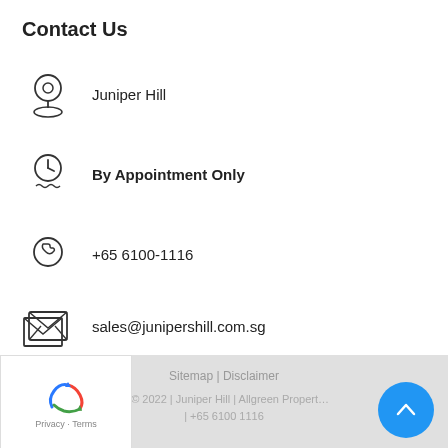Contact Us
Juniper Hill
By Appointment Only
+65 6100-1116
sales@junipershill.com.sg
Sitemap | Disclaimer
ht © 2022 | Juniper Hill | Allgreen Propert… | +65 6100 1116